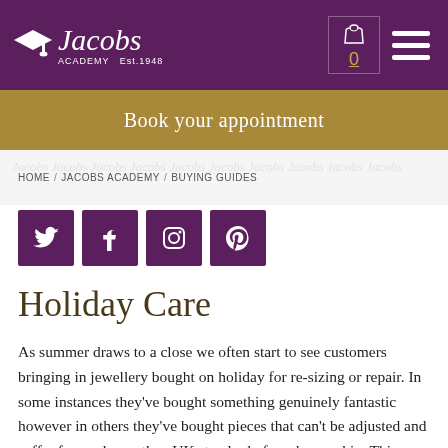[Figure (logo): Jacobs Academy logo with graduation cap icon, white text on purple background, Est 1948]
Book your appointment
HOME / JACOBS ACADEMY / BUYING GUIDES
[Figure (infographic): Row of four social media icon buttons (Twitter, Facebook, Instagram, Pinterest) in purple square buttons]
Holiday Care
As summer draws to a close we often start to see customers bringing in jewellery bought on holiday for re-sizing or repair. In some instances they've bought something genuinely fantastic however in others they've bought pieces that can't be adjusted and suffer from a lower than UK standard of worksmanship. This means they won't last as long, and we think once you've invested in